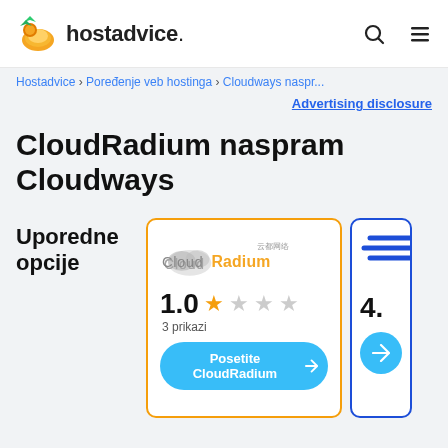hostadvice.
Hostadvice › Poređenje veb hostinga › Cloudways naspr...
Advertising disclosure
CloudRadium naspram Cloudways
Uporedne opcije
[Figure (logo): CloudRadium logo with Chinese characters]
1.0 ★☆☆☆☆ 3 prikazi
Posetite CloudRadium
4.